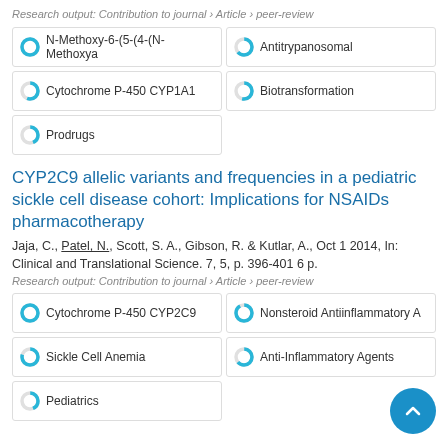Research output: Contribution to journal › Article › peer-review
N-Methoxy-6-(5-(4-(N-Methoxya
Antitrypanosomal
Cytochrome P-450 CYP1A1
Biotransformation
Prodrugs
CYP2C9 allelic variants and frequencies in a pediatric sickle cell disease cohort: Implications for NSAIDs pharmacotherapy
Jaja, C., Patel, N., Scott, S. A., Gibson, R. & Kutlar, A., Oct 1 2014, In: Clinical and Translational Science. 7, 5, p. 396-401 6 p.
Research output: Contribution to journal › Article › peer-review
Cytochrome P-450 CYP2C9
Nonsteroid Antiinflammatory A
Sickle Cell Anemia
Anti-Inflammatory Agents
Pediatrics